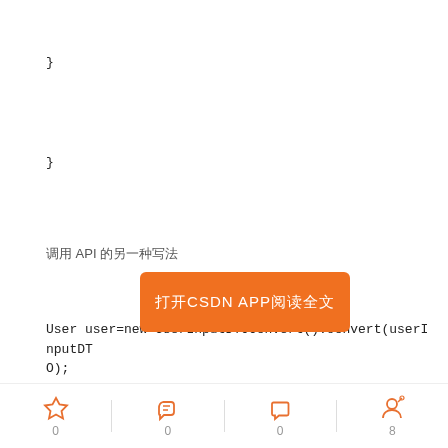}
}
调用 API 的另一种写法
User user=new UserInputDTOConvert().convert(userInputDTO);
User saveUserResult=userService.addUser(user);
方法二
[Figure (other): Orange button overlay with text 打开CSDN APP阅读全文]
User user=userInputDTO.convertToUser();
User saveUserResult=userService.addUser(user);
0 0 0 8